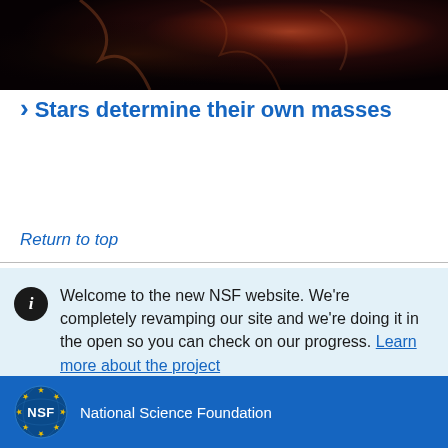[Figure (photo): Dark space/nebula image with reddish-brown cloud formations against a dark background]
Stars determine their own masses
Return to top
Welcome to the new NSF website. We're completely revamping our site and we're doing it in the open so you can check on our progress. Learn more about the project
[Figure (logo): NSF National Science Foundation logo — circular emblem with stars and globe, white text NSF on blue background, beside text National Science Foundation]